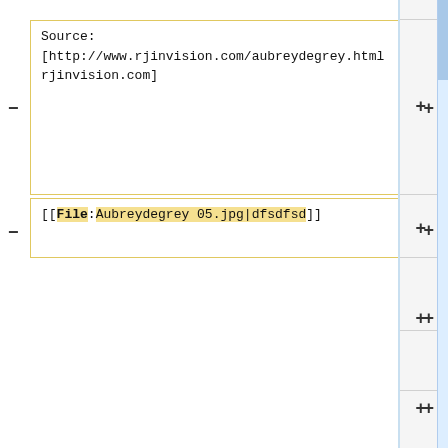Source:
[http://www.rjinvision.com/aubreydegrey.html rjinvision.com]
[[File:Aubreydegrey 05.jpg|dfsdfsd]]